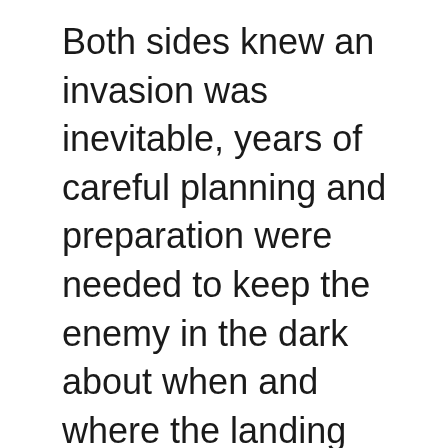Both sides knew an invasion was inevitable, years of careful planning and preparation were needed to keep the enemy in the dark about when and where the landing would take place. The control of information and spread of disinformation was paramount to the success of the operation which was code named Neptune. “Loose lips sink ships” was the common phrase on either side of the “Pond”.